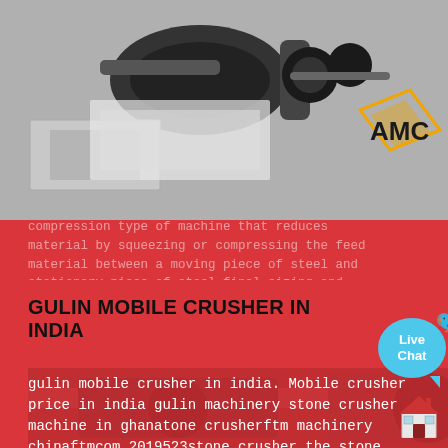[Figure (photo): Industrial crusher machine with rollers and AMC logo visible in the top-right corner]
compression type of machine that reduces material by squeezing or compressing the feed material between a moving piece of steel and stationary piece of steel final sizing and
GULIN MOBILE CRUSHER IN INDIA
gulin mobile crusher in india. Mobile crusher price in india gulin machinery stone crusher machine in ghanatone crusherftm machinery chinaftmcom 2019523stone crusher the stone crusher is a generic term for crushers and is used for coarse medium and fine crushing of various ores according to the principle shape special field and other factors stone crusher can get a quote.